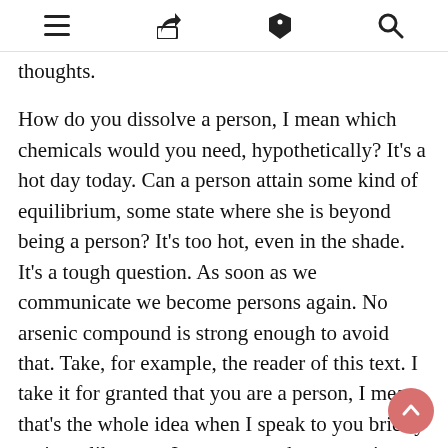[menu icon] [share icon] [tag icon] [search icon]
thoughts.
How do you dissolve a person, I mean which chemicals would you need, hypothetically? It’s a hot day today. Can a person attain some kind of equilibrium, some state where she is beyond being a person? It’s too hot, even in the shade. It’s a tough question. As soon as we communicate we become persons again. No arsenic compound is strong enough to avoid that. Take, for example, the reader of this text. I take it for granted that you are a person, I mean that’s the whole idea when I speak to you briefly at times like now. I assume you have certain humanoid tentacles and a semipermeable skin just like myself. I don’t want to think about the possibility that you are